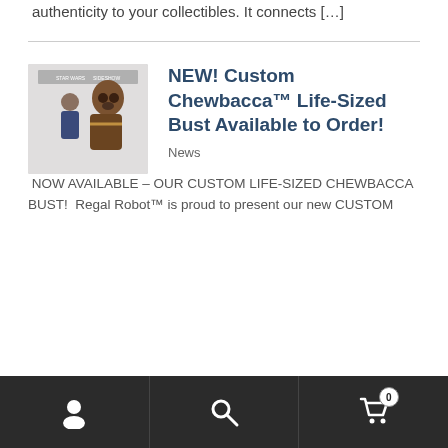authenticity to your collectibles. It connects […]
[Figure (photo): Photo of a person standing next to a life-sized Chewbacca bust/costume, with Star Wars and Sideshow logos visible in the background]
NEW! Custom Chewbacca™ Life-Sized Bust Available to Order!
News
NOW AVAILABLE – OUR CUSTOM LIFE-SIZED CHEWBACCA BUST!  Regal Robot™ is proud to present our new CUSTOM
User icon | Search icon | Cart (0)